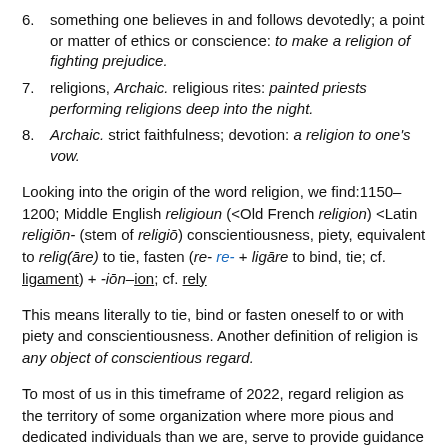6. something one believes in and follows devotedly; a point or matter of ethics or conscience: to make a religion of fighting prejudice.
7. religions, Archaic. religious rites: painted priests performing religions deep into the night.
8. Archaic. strict faithfulness; devotion: a religion to one's vow.
Looking into the origin of the word religion, we find:1150–1200; Middle English religioun (<Old French religion) <Latin religiōn- (stem of religiō) conscientiousness, piety, equivalent to relig(āre) to tie, fasten (re- re- + ligāre to bind, tie; cf. ligament) + -iōn–ion; cf. rely
This means literally to tie, bind or fasten oneself to or with piety and conscientiousness. Another definition of religion is any object of conscientious regard.
To most of us in this timeframe of 2022, regard religion as the territory of some organization where more pious and dedicated individuals than we are, serve to provide guidance in the form of rituals, teachings through sermons and discerning of ancient holy texts. Too